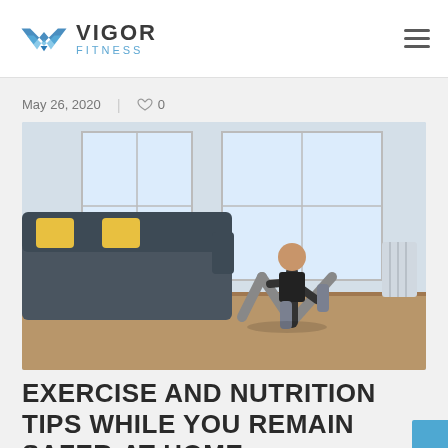VIGOR FITNESS
May 26, 2020  |  ♡ 0
[Figure (photo): Woman doing a lunge exercise in a modern living room with large windows, grey sofa with yellow pillows, hardwood floor. She is wearing a black sports top and grey leggings.]
EXERCISE AND NUTRITION TIPS WHILE YOU REMAIN SAFER-AT-HOME